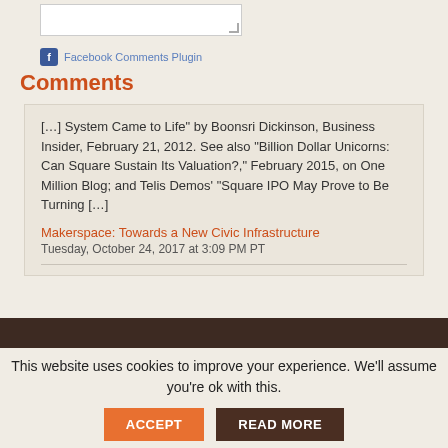[Figure (screenshot): Comment input text box with resize handle]
Facebook Comments Plugin
Comments
[…] System Came to Life" by Boonsri Dickinson, Business Insider, February 21, 2012. See also "Billion Dollar Unicorns: Can Square Sustain Its Valuation?," February 2015, on One Million Blog; and Telis Demos' "Square IPO May Prove to Be Turning […]
Makerspace: Towards a New Civic Infrastructure
Tuesday, October 24, 2017 at 3:09 PM PT
This website uses cookies to improve your experience. We'll assume you're ok with this.